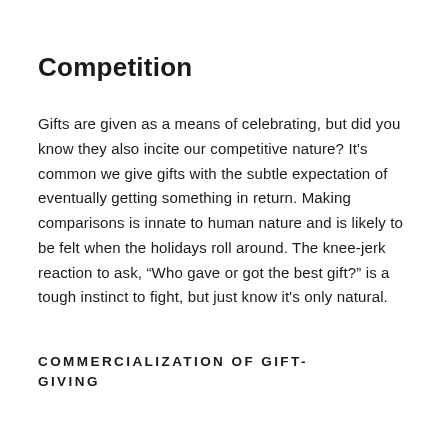Competition
Gifts are given as a means of celebrating, but did you know they also incite our competitive nature? It’s common we give gifts with the subtle expectation of eventually getting something in return. Making comparisons is innate to human nature and is likely to be felt when the holidays roll around. The knee-jerk reaction to ask, “Who gave or got the best gift?” is a tough instinct to fight, but just know it’s only natural.
COMMERCIALIZATION OF GIFT-GIVING